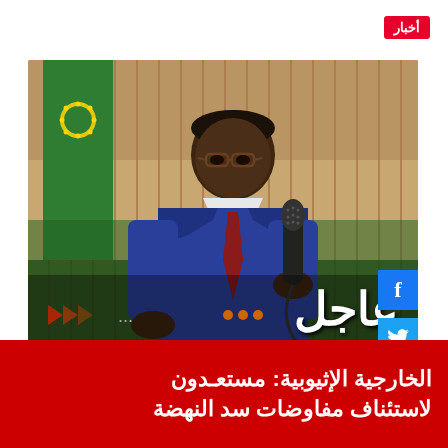أخبار
[Figure (photo): Photo of an African official in a blue suit speaking into a microphone, with an African Union green flag in the background. The image has a 'عاجل' (Breaking) overlay text at the bottom.]
الخارجية الإثيوبية: مستعدون لاستئناف مفاوضات سد النهضة